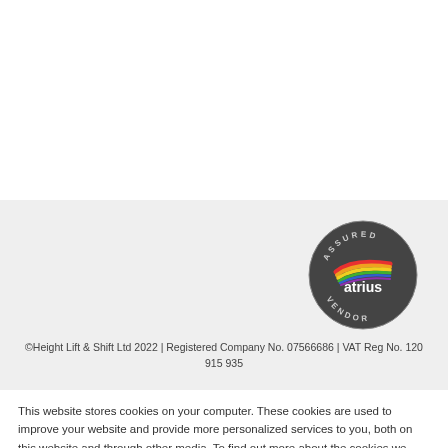[Figure (logo): Atrius Assured Vendor circular badge with colorful swoosh logo on dark grey background]
©Height Lift & Shift Ltd 2022 | Registered Company No. 07566686 | VAT Reg No. 120 915 935
This website stores cookies on your computer. These cookies are used to improve your website and provide more personalized services to you, both on this website and through other media. To find out more about the cookies we use, see our Privacy Policy.
[Figure (illustration): Accept button (orange filled) and Decline button (orange outlined) for cookie consent]
[Figure (illustration): Green circular chat bubble button in bottom right corner]